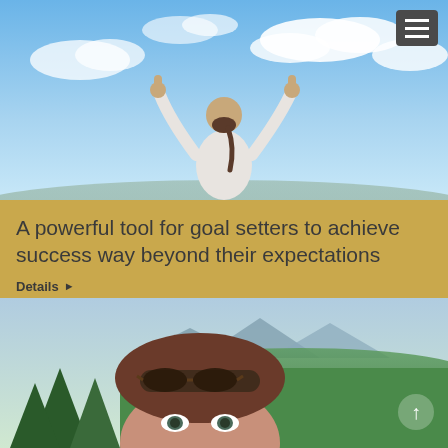[Figure (photo): Woman with arms raised in victory/celebration pose, thumbs up, viewed from behind against a blue sky with clouds]
A powerful tool for goal setters to achieve success way beyond their expectations
Details ▶
[Figure (photo): Close-up of a woman's face with sunglasses on her head, green mountainous valley landscape in the background]